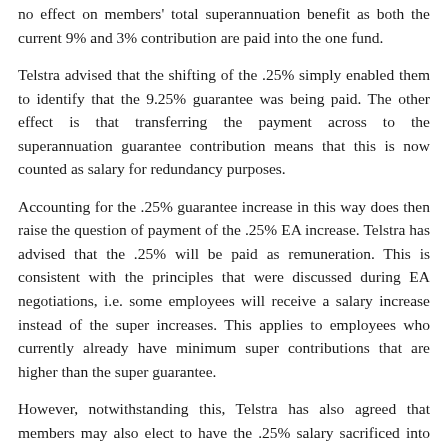no effect on members' total superannuation benefit as both the current 9% and 3% contribution are paid into the one fund.
Telstra advised that the shifting of the .25% simply enabled them to identify that the 9.25% guarantee was being paid. The other effect is that transferring the payment across to the superannuation guarantee contribution means that this is now counted as salary for redundancy purposes.
Accounting for the .25% guarantee increase in this way does then raise the question of payment of the .25% EA increase. Telstra has advised that the .25% will be paid as remuneration. This is consistent with the principles that were discussed during EA negotiations, i.e. some employees will receive a salary increase instead of the super increases. This applies to employees who currently already have minimum super contributions that are higher than the super guarantee.
However, notwithstanding this, Telstra has also agreed that members may also elect to have the .25% salary sacrificed into their super.